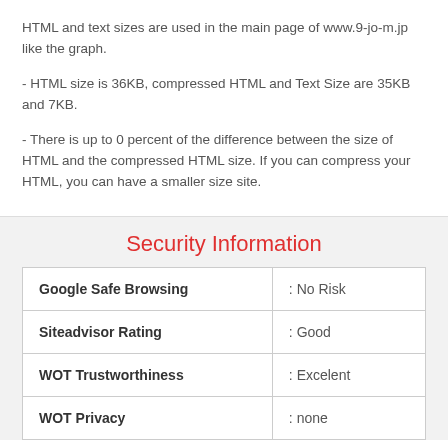HTML and text sizes are used in the main page of www.9-jo-m.jp like the graph.
- HTML size is 36KB, compressed HTML and Text Size are 35KB and 7KB.
- There is up to 0 percent of the difference between the size of HTML and the compressed HTML size. If you can compress your HTML, you can have a smaller size site.
Security Information
|  |  |
| --- | --- |
| Google Safe Browsing | : No Risk |
| Siteadvisor Rating | : Good |
| WOT Trustworthiness | : Excelent |
| WOT Privacy | : none |